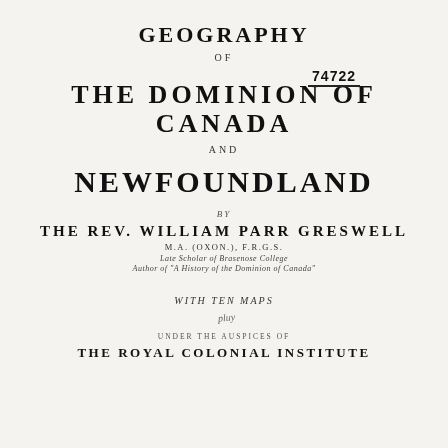GEOGRAPHY
74722
OF
THE DOMINION OF CANADA
AND
NEWFOUNDLAND
BY
THE REV. WILLIAM PARR GRESWELL
M.A. (OXON.), F.R.G.S.
Late Scholar of Brasenose College
Author of 'A History of the Dominion of Canada'
WITH TEN MAPS
UNDER THE AUSPICES OF
THE ROYAL COLONIAL INSTITUTE